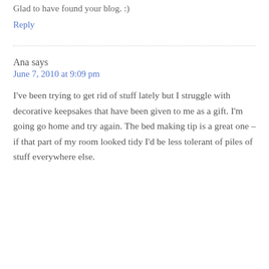Glad to have found your blog. :)
Reply
Ana says
June 7, 2010 at 9:09 pm
I've been trying to get rid of stuff lately but I struggle with decorative keepsakes that have been given to me as a gift. I'm going go home and try again. The bed making tip is a great one – if that part of my room looked tidy I'd be less tolerant of piles of stuff everywhere else.